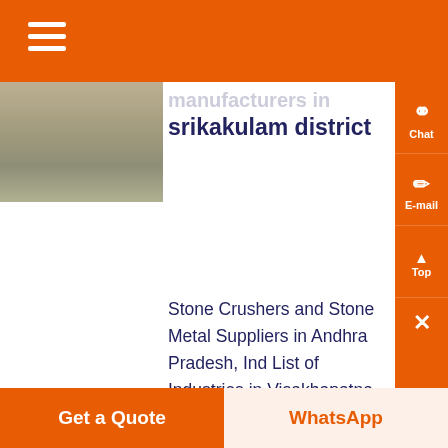manufacturers in srikakulam district
Know More
Stone Crushers and Stone Metal Suppliers in Andhra Pradesh, Ind List of Industries in Visakhapatna - BHPV, HPCL, Visakhapatnam S Plant, Ship, docks, dock yard, LG, Polymers, Essar, , Adinarayana Stone Crushing Industry , AP Electric Equipment Corporation L
Get a Quote | WhatsApp